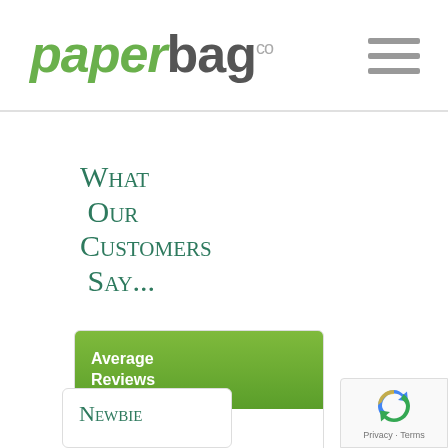paperbagco
What Our Customers Say...
[Figure (other): Average Reviews card with Reviews.io logo]
[Figure (other): Newbie card partial]
[Figure (other): reCAPTCHA badge with Privacy and Terms links]